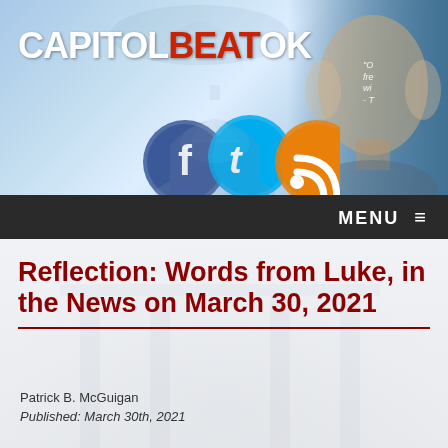[Figure (screenshot): CapitolBeatOK website header banner with logo, social media icons (Facebook, Twitter, RSS), eagle/map watermark, and Thomas Jefferson portrait on right with partial quote]
Reflection: Words from Luke, in the News on March 30, 2021
Patrick B. McGuigan
Published: March 30th, 2021